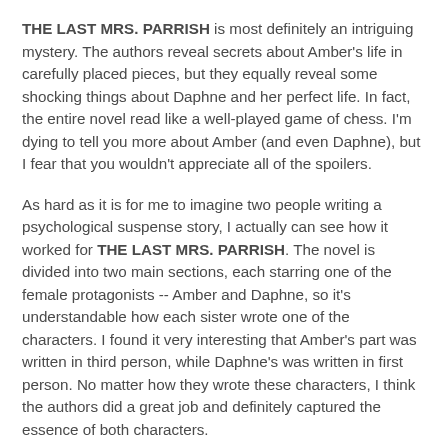THE LAST MRS. PARRISH is most definitely an intriguing mystery. The authors reveal secrets about Amber's life in carefully placed pieces, but they equally reveal some shocking things about Daphne and her perfect life. In fact, the entire novel read like a well-played game of chess. I'm dying to tell you more about Amber (and even Daphne), but I fear that you wouldn't appreciate all of the spoilers.
As hard as it is for me to imagine two people writing a psychological suspense story, I actually can see how it worked for THE LAST MRS. PARRISH. The novel is divided into two main sections, each starring one of the female protagonists -- Amber and Daphne, so it's understandable how each sister wrote one of the characters. I found it very interesting that Amber's part was written in third person, while Daphne's was written in first person. No matter how they wrote these characters, I think the authors did a great job and definitely captured the essence of both characters.
There were plenty of twists and turns in this story, but I will admit that I had a feeling where the novel was going. From fairness I found first what I can imagine to come from